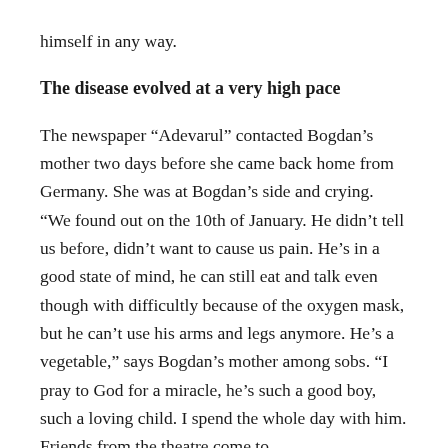himself in any way.
The disease evolved at a very high pace
The newspaper “Adevarul” contacted Bogdan’s mother two days before she came back home from Germany. She was at Bogdan’s side and crying. “We found out on the 10th of January. He didn’t tell us before, didn’t want to cause us pain. He’s in a good state of mind, he can still eat and talk even though with difficultly because of the oxygen mask, but he can’t use his arms and legs anymore. He’s a vegetable,” says Bogdan’s mother among sobs. “I pray to God for a miracle, he’s such a good boy, such a loving child. I spend the whole day with him. Friends from the theatre come to